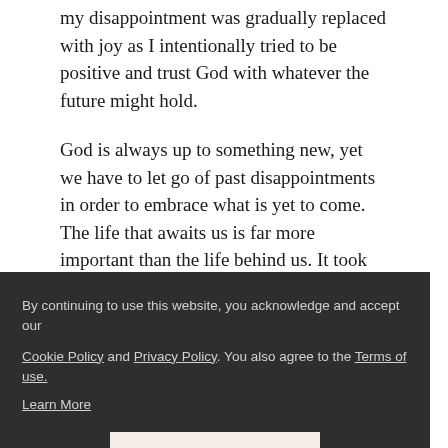my disappointment was gradually replaced with joy as I intentionally tried to be positive and trust God with whatever the future might hold.
God is always up to something new, yet we have to let go of past disappointments in order to embrace what is yet to come. The life that awaits us is far more important than the life behind us. It took me a while to understand this because it was hard to accept what had happened to my family, but when I finally allowed myself to believe it, life changed for the better, as did I.
Lord, I surrender my disappointments to You today. Right [nking ow.
[Figure (screenshot): Cookie consent overlay on dark background with text: 'By continuing to use this website, you acknowledge and accept our Cookie Policy and Privacy Policy. You also agree to the Terms of use. Learn More' and a CONTINUE button.]
you love is navigating hard seasons, it's natural to want to